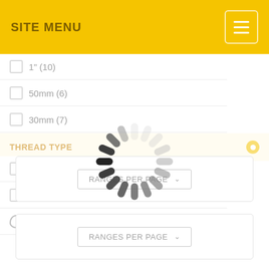SITE MENU
1" (10)
50mm (6)
30mm (7)
THREAD TYPE
Metric (69)
BSF (31)
BSW (30)
[Figure (infographic): Loading spinner animation overlay]
RANGES PER PAGE
RANGES PER PAGE